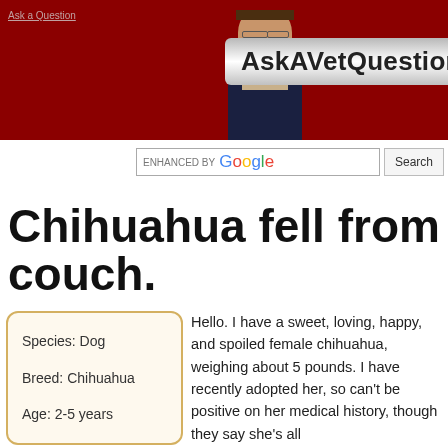AskAVetQuestion.com
[Figure (screenshot): Website header banner for AskAVetQuestion.com with dark red background, photo of a woman with glasses, and site title text]
ENHANCED BY Google  Search
Chihuahua fell from couch.
| Species: Dog |
| Breed: Chihuahua |
| Age: 2-5 years |
Hello. I have a sweet, loving, happy, and spoiled female chihuahua, weighing about 5 pounds. I have recently adopted her, so can't be positive on her medical history, though they say she's all...